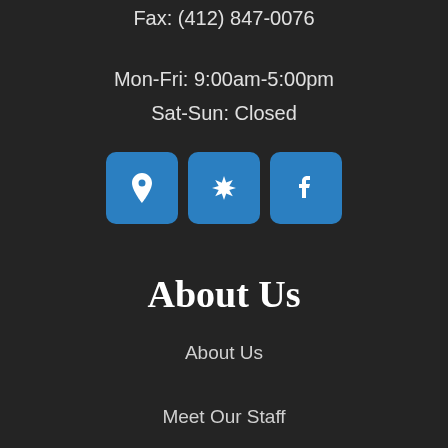Fax: (412) 847-0076
Mon-Fri: 9:00am-5:00pm
Sat-Sun: Closed
[Figure (other): Three blue rounded square social media icon buttons: location pin, Yelp burst star, and Facebook logo]
About Us
About Us
Meet Our Staff